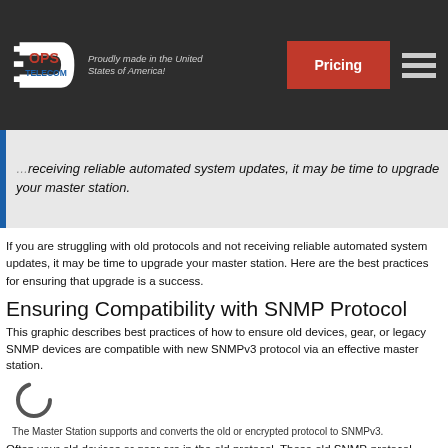OPS Telecom — Proudly made in the United States of America! | Pricing
...receiving reliable automated system updates, it may be time to upgrade your master station.
If you are struggling with old protocols and not receiving reliable automated system updates, it may be time to upgrade your master station. Here are the best practices for ensuring that upgrade is a success.
Ensuring Compatibility with SNMP Protocol
This graphic describes best practices of how to ensure old devices, gear, or legacy SNMP devices are compatible with new SNMPv3 protocol via an effective master station.
[Figure (illustration): Loading spinner / circular arrow icon representing the Master Station converting old protocol to SNMPv3]
The Master Station supports and converts the old or encrypted protocol to SNMPv3.
Often your old devices or gear are in the old protocol. These old SNMP-protocol-based devices need to convert to SNMPv3 (Version 3) from old SNMPv1 or v2c.
The Master Station shown above supports and converts the old or encrypted protocol to SNMPv3. Because most older equipment does not support legacy equipment (based on the old SNMP protocol v1 and v2c), a master station will